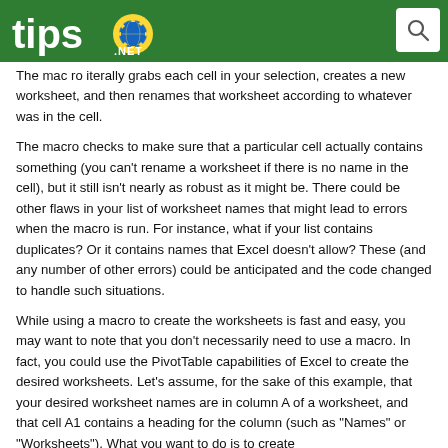tips.net
The macro iterally grabs each cell in your selection, creates a new worksheet, and then renames that worksheet according to whatever was in the cell.
The macro checks to make sure that a particular cell actually contains something (you can't rename a worksheet if there is no name in the cell), but it still isn't nearly as robust as it might be. There could be other flaws in your list of worksheet names that might lead to errors when the macro is run. For instance, what if your list contains duplicates? Or it contains names that Excel doesn't allow? These (and any number of other errors) could be anticipated and the code changed to handle such situations.
While using a macro to create the worksheets is fast and easy, you may want to note that you don't necessarily need to use a macro. In fact, you could use the PivotTable capabilities of Excel to create the desired worksheets. Let's assume, for the sake of this example, that your desired worksheet names are in column A of a worksheet, and that cell A1 contains a heading for the column (such as "Names" or "Worksheets"). What you want to do is to create